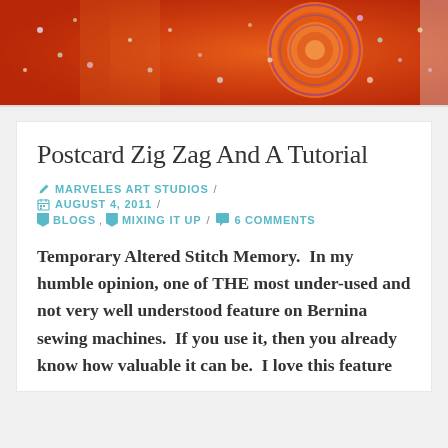[Figure (photo): Close-up photo of colorful embroidered or beaded textile with spiral patterns in orange, red, and multicolored beads/sequins]
Postcard Zig Zag And A Tutorial
✏ MARVELES ART STUDIOS / 📅 AUGUST 4, 2011 / 🔖 BLOGS, 🔖 MIXING IT UP / 💬 6 COMMENTS
Temporary Altered Stitch Memory.  In my humble opinion, one of THE most under-used and not very well understood feature on Bernina sewing machines.  If you use it, then you already know how valuable it can be.  I love this feature